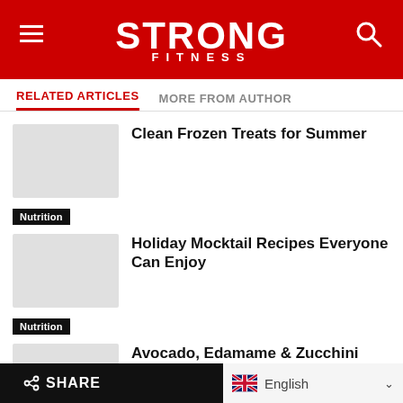STRONG FITNESS
RELATED ARTICLES   MORE FROM AUTHOR
Clean Frozen Treats for Summer
Nutrition
Holiday Mocktail Recipes Everyone Can Enjoy
Nutrition
Avocado, Edamame & Zucchini Fritters
Nutrition
Mushroom, Chicken, and Cauliflower-
SHARE   English